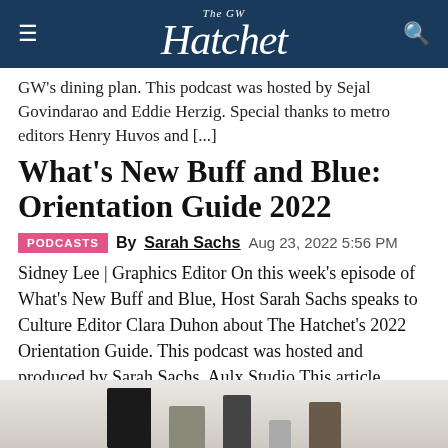The GW Hatchet
GW's dining plan. This podcast was hosted by Sejal Govindarao and Eddie Herzig. Special thanks to metro editors Henry Huvos and [...]
What's New Buff and Blue: Orientation Guide 2022
PODCASTS  By Sarah Sachs  Aug 23, 2022 5:56 PM
Sidney Lee | Graphics Editor On this week's episode of What's New Buff and Blue, Host Sarah Sachs speaks to Culture Editor Clara Duhon about The Hatchet's 2022 Orientation Guide. This podcast was hosted and produced by Sarah Sachs. Aulx Studio This article appeared in the August 22, 2022 issue of the Hatchet.
[Figure (photo): Partial photo at the bottom of the page showing books or objects on a light background]